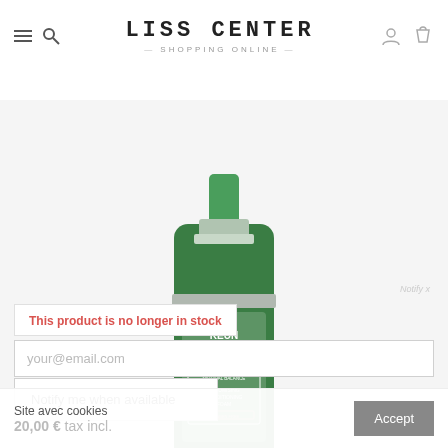LISS CENTER — Shopping Online —
[Figure (photo): Green Keune So Pure Natural Balance Volumising Conditioning Foam bottle with silver pump top]
Notify x
This product is no longer in stock
your@email.com
Notify me when available
Site avec cookies
20,00 € tax incl.
Accept